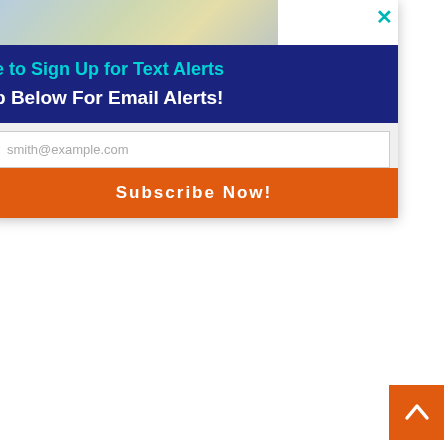[Figure (screenshot): Email subscription modal overlay with dark navy header, teal/cyan text 'e to Sign Up for Text Alerts', white text 'p Below For Email Alerts!', email input field with placeholder 'smith@example.com', orange Subscribe Now button, and a close X button in teal.]
[Figure (photo): Partial thumbnail image strip at top of modal showing a light-colored scene.]
accel schools Teacher, Elementary School Jobs in Ashburn Apply Now
jobble.com
[Figure (logo): Outbrain logo with play button icon]
For a closer look at the offense, makes sure to view the video above.
Also get a glimpse inside practice with the following Facebook photo gallery:
Photo Gallery – Aug. 8
On Saturday, there was a lot of install for the Knights, as well as plenty of work on the punt game. When the first, second and third